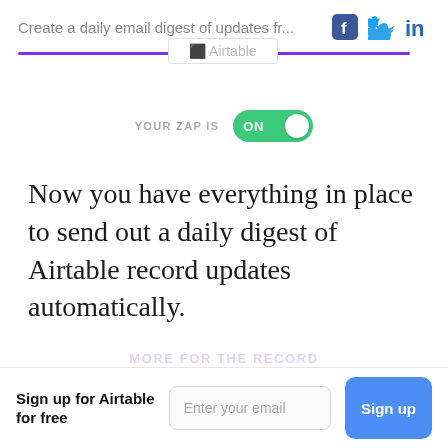Create a daily email digest of updates fr...
[Figure (screenshot): Toggle switch showing 'YOUR ZAP IS ON' in green]
Now you have everything in place to send out a daily digest of Airtable record updates automatically.
Sign up for Airtable for free   Enter your email   Sign up